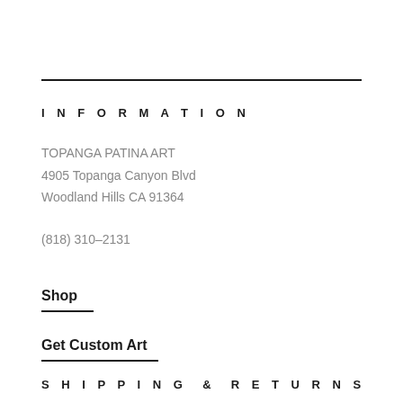INFORMATION
TOPANGA PATINA ART
4905 Topanga Canyon Blvd
Woodland Hills CA 91364
(818) 310-2131
Shop
Get Custom Art
SHIPPING & RETURNS